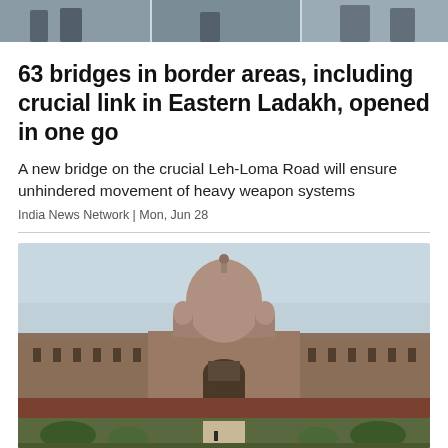[Figure (photo): Top strip photo showing people or scene at border area]
63 bridges in border areas, including crucial link in Eastern Ladakh, opened in one go
A new bridge on the crucial Leh-Loma Road will ensure unhindered movement of heavy weapon systems
India News Network | Mon, Jun 28
[Figure (photo): Photograph of Rashtrapati Bhavan (Indian government building) with its iconic dome, red sandstone facade, and manicured garden in the foreground under a pale sky]